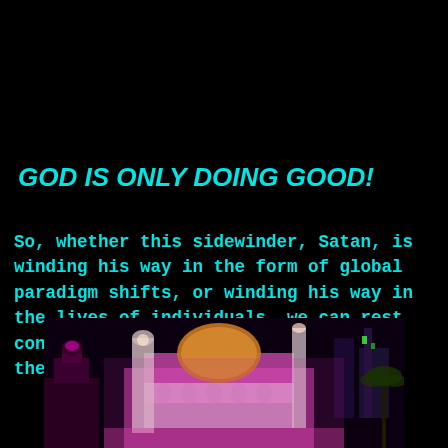GOD IS ONLY DOING GOOD!
So, whether this sidewinder, Satan, is winding his way in the form of global paradigm shifts, or winding his way in the lives of individuals, we can rest confident that God is only allowing these things for our good!
[Figure (photo): Night-time photo of illuminated mosque or temple buildings with pink/purple lighting against a dark sky, with palm trees visible]